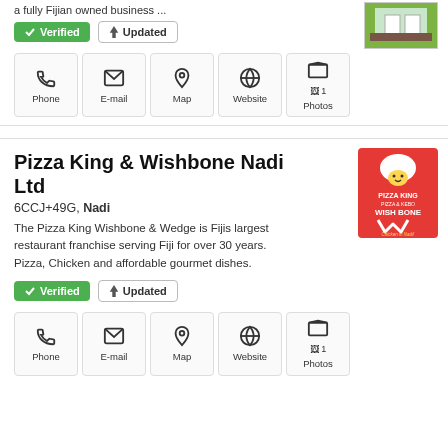a fully Fijian owned business ...
✓ Verified  ⚡ Updated
[Figure (photo): Photo thumbnail of a business storefront]
[Figure (infographic): Icon buttons: Phone, E-mail, Map, Website, Photos (1)]
Pizza King & Wishbone Nadi Ltd
6CCJ+49G, Nadi
The Pizza King Wishbone & Wedge is Fijis largest restaurant franchise serving Fiji for over 30 years. Pizza, Chicken and affordable gourmet dishes.
✓ Verified  ⚡ Updated
[Figure (logo): Pizza King Wishbone red logo on red background]
[Figure (infographic): Icon buttons: Phone, E-mail, Map, Website, Photos (1)]